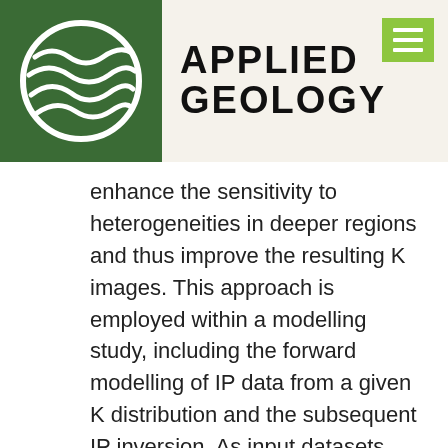Applied Geology
enhance the sensitivity to heterogeneities in deeper regions and thus improve the resulting K images. This approach is employed within a modelling study, including the forward modelling of IP data from a given K distribution and the subsequent IP inversion. As input datasets, the porosity and hydraulic conductivity distribution of three sedimentary aquifer analogs – namely Herten, Descalvado and Bolstern – are used. In comparison to purely synthetic models, they provide real-world datasets, that are